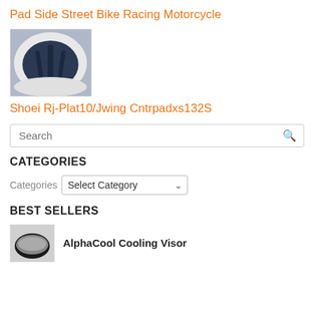Pad Side Street Bike Racing Motorcycle
[Figure (photo): Overhead view of a motorcycle helmet interior showing dark navy foam padding with three vertical ridges, surrounded by white lining.]
Shoei Rj-Plat10/Jwing Cntrpadxs132S
Search
CATEGORIES
Categories Select Category
BEST SELLERS
AlphaCool Cooling Visor